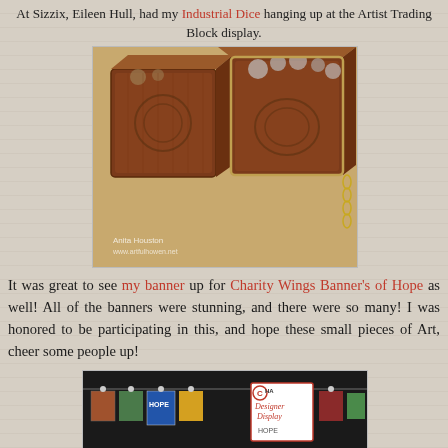At Sizzix, Eileen Hull, had my Industrial Dice hanging up at the Artist Trading Block display.
[Figure (photo): Two decorative steampunk-style dice/boxes with metal gears and embossed designs on a wooden table surface, with a gold chain visible on the right box. Watermark reads: Anita Houston, www.artfulhowen.net]
It was great to see my banner up for Charity Wings Banner's of Hope as well! All of the banners were stunning, and there were so many! I was honored to be participating in this, and hope these small pieces of Art, cheer some people up!
[Figure (photo): A banner display hanging on a black table skirting showing multiple small decorative art banners with a CHA Designer Display sign visible on the right side.]